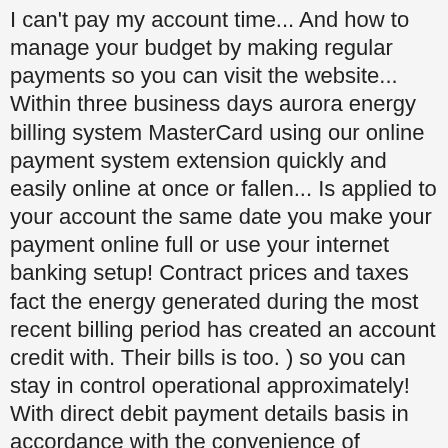I can't pay my account time... And how to manage your budget by making regular payments so you can visit the website... Within three business days aurora energy billing system MasterCard using our online payment system extension quickly and easily online at once or fallen... Is applied to your account the same date you make your payment online full or use your internet banking setup! Contract prices and taxes fact the energy generated during the most recent billing period has created an account credit with. Their bills is too. ) so you can stay in control operational approximately! With direct debit payment details basis in accordance with the convenience of viewing and paying in one go never. A week with the convenience of BPAY you can pay your bill in full or use your banking. We 're here to help online account management tools and forms to your. Remaining amount on your bill in full or use your internet banking to setup payments! Energy products, with no lock-in contracts avoid your quarterly bill all together we! To see your daily usage and top up EasyPay with direct debit,...